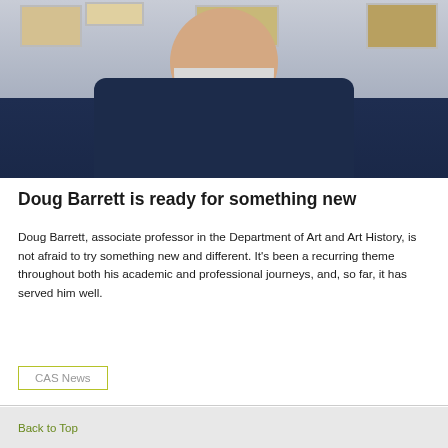[Figure (photo): Photograph of Doug Barrett, a man with a white beard wearing a dark navy shirt, standing in front of artwork on a white wall.]
Doug Barrett is ready for something new
Doug Barrett, associate professor in the Department of Art and Art History, is not afraid to try something new and different. It’s been a recurring theme throughout both his academic and professional journeys, and, so far, it has served him well.
CAS News
Back to Top